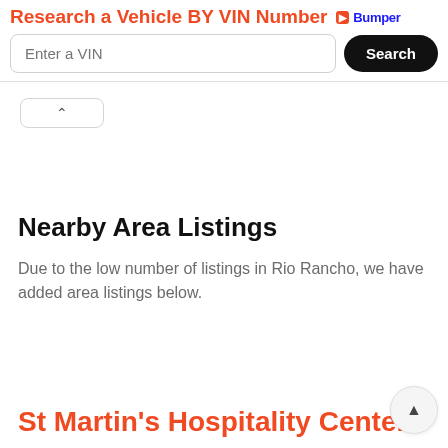Research a Vehicle BY VIN Number
Enter a VIN
Search
Nearby Area Listings
Due to the low number of listings in Rio Rancho, we have added area listings below.
St Martin's Hospitality Center